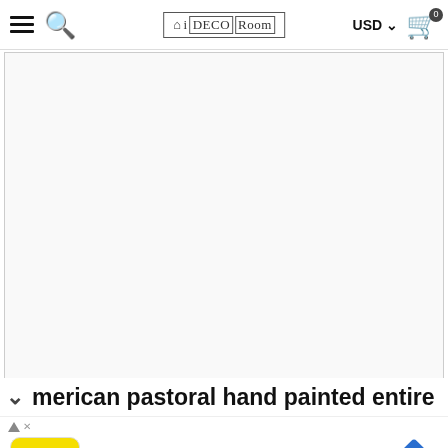iDECORoom — USD navigation header with hamburger menu, search, logo, currency selector, and cart
[Figure (photo): Large white/blank main product image area for a floral wallpaper product on iDECORoom e-commerce site]
[Figure (photo): Thumbnail 1: Living room with pink floral ceiling and wall mural, selected/active state with border]
[Figure (photo): Thumbnail 2: Dining room with pink floral wall mural]
[Figure (photo): Thumbnail 3: Flat lay of pink floral wallpaper panels with idecor logo watermark]
[Figure (photo): Thumbnail 4: White ornate frame detail and sample swatches with arrow indicating more images]
American pastoral hand painted entire
[Figure (screenshot): Advertisement banner: Good Stuff Cheap at Ollie's — Ollie's Bargain Outlet, with yellow Ollie's logo and blue diamond arrow icon]